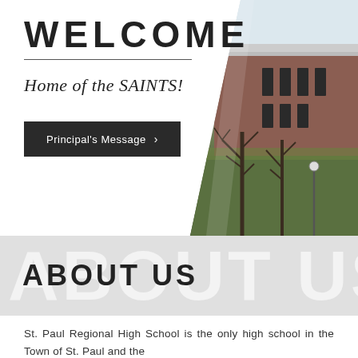WELCOME
Home of the SAINTS!
Principal's Message >
[Figure (photo): Exterior photo of St. Paul Regional High School building with trees in foreground, brick building visible on right side of frame with diagonal clip layout]
ABOUT US
St. Paul Regional High School is the only high school in the Town of St. Paul and the